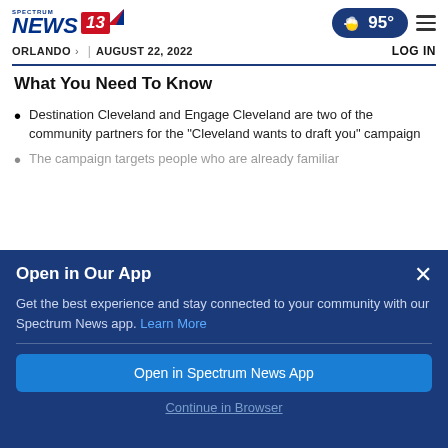Spectrum News 13 | ORLANDO > | AUGUST 22, 2022 | 95° | LOG IN
What You Need To Know
Destination Cleveland and Engage Cleveland are two of the community partners for the "Cleveland wants to draft you" campaign
The campaign targets people who are already familiar
Open in Our App
Get the best experience and stay connected to your community with our Spectrum News app. Learn More
Open in Spectrum News App
Continue in Browser